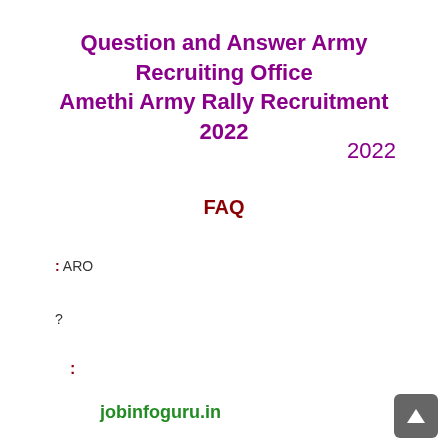Question and Answer Army Recruiting Office Amethi Army Rally Recruitment 2022
2022
FAQ
: ARO
?
:
jobinfoguru.in
: